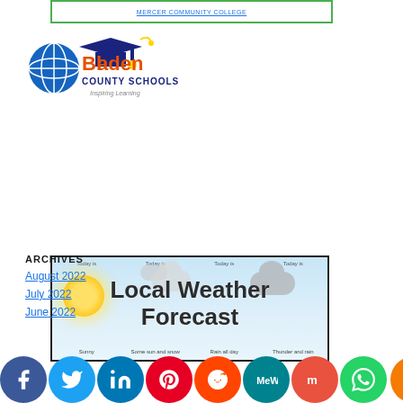[Figure (logo): Top banner with green border and blue underlined text reading MERCER COMMUNITY COLLEGE or similar college name]
[Figure (logo): Bladen County Schools logo with globe icon, graduation cap, and text 'Bladen COUNTY SCHOOLS Inspiring Learning']
[Figure (infographic): Local Weather Forecast banner image showing sun, clouds, rain. Labels: Today is Sunny, Some sun and snow, Rain all day, Thunder and rain]
ARCHIVES
August 2022
July 2022
June 2022
[Figure (infographic): Social media share buttons row: Facebook, Twitter, LinkedIn, Pinterest, Reddit, MeWe, Mix, WhatsApp, More (partially visible)]